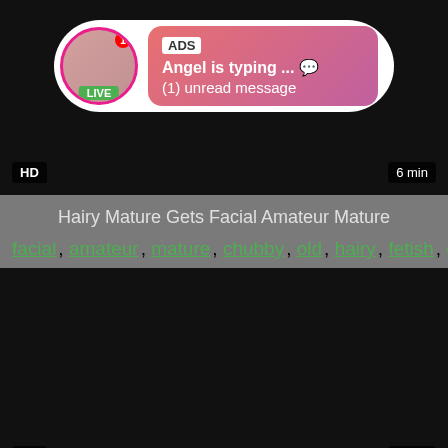[Figure (screenshot): Video thumbnail with dark background, HD badge bottom-left, 6 min badge bottom-right, and an ad overlay showing avatar with LIVE badge, ADS label, 'Angel is typing ... 💬' and '(1) unread message']
Hairy Mature Gets Facial Amateur Mature
facial, amateur, mature, chubby, old, hairy, fetish, granny,...
[Figure (screenshot): Dark video thumbnail with HD badge bottom-left and 6 min badge bottom-right]